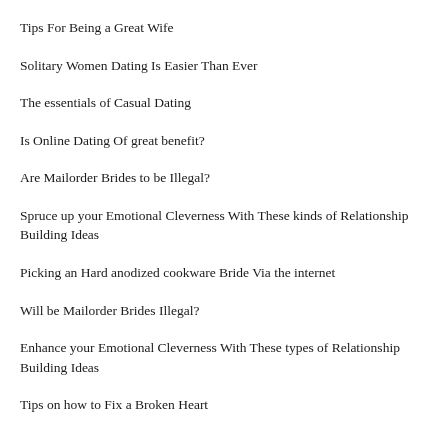Tips For Being a Great Wife
Solitary Women Dating Is Easier Than Ever
The essentials of Casual Dating
Is Online Dating Of great benefit?
Are Mailorder Brides to be Illegal?
Spruce up your Emotional Cleverness With These kinds of Relationship Building Ideas
Picking an Hard anodized cookware Bride Via the internet
Will be Mailorder Brides Illegal?
Enhance your Emotional Cleverness With These types of Relationship Building Ideas
Tips on how to Fix a Broken Heart